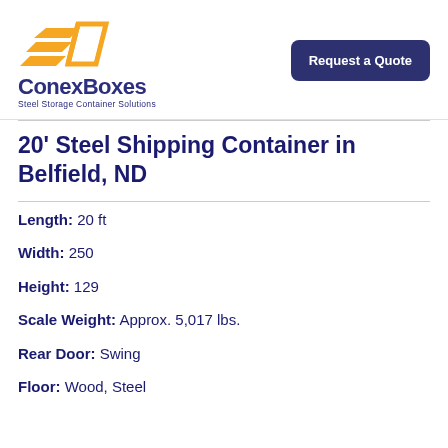[Figure (logo): ConexBoxes logo with orange arrow/box graphic and text 'ConexBoxes Steel Storage Container Solutions']
Request a Quote
20' Steel Shipping Container in Belfield, ND
Length: 20 ft
Width: 250
Height: 129
Scale Weight: Approx. 5,017 lbs.
Rear Door: Swing
Floor: Wood, Steel